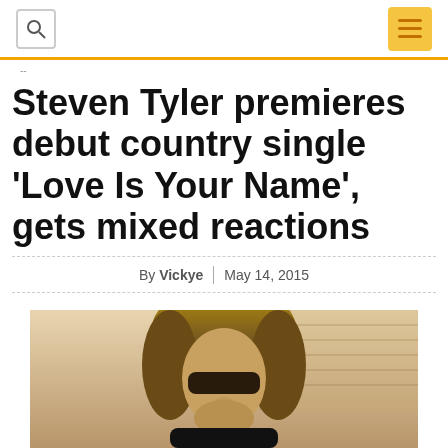Steven Tyler premieres debut country single ‘Love Is Your Name’, gets mixed reactions
By Vickye  |  May 14, 2015
[Figure (photo): Photo of Steven Tyler wearing sunglasses with long wavy hair, sepia-toned image]